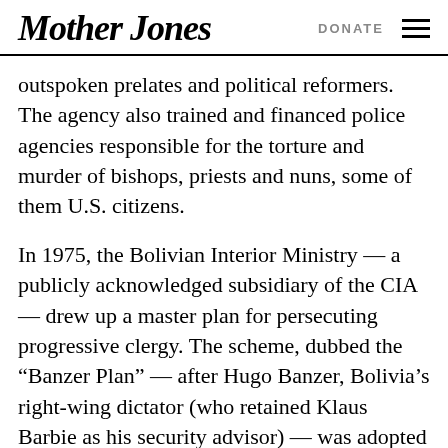Mother Jones | DONATE
outspoken prelates and political reformers. The agency also trained and financed police agencies responsible for the torture and murder of bishops, priests and nuns, some of them U.S. citizens.
In 1975, the Bolivian Interior Ministry — a publicly acknowledged subsidiary of the CIA — drew up a master plan for persecuting progressive clergy. The scheme, dubbed the “Banzer Plan” — after Hugo Banzer, Bolivia’s right-wing dictator (who retained Klaus Barbie as his security advisor) — was adopted by ten Latin American governments. The plan involved compiling dossiers on church activists; censoring and shutting down progressive Catholic